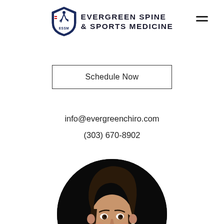[Figure (logo): Evergreen Spine & Sports Medicine shield logo with skier icon and ESSM text]
Evergreen Spine & Sports Medicine
Schedule Now
info@evergreenchiro.com
(303) 670-8902
[Figure (photo): Circular portrait photo of a smiling woman with dark hair wearing a green jacket, against a black background]